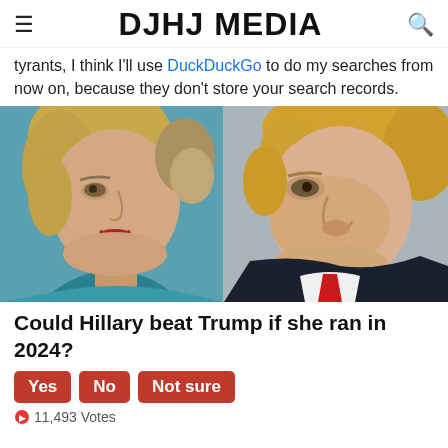DJHJ MEDIA
tyrants, I think I'll use DuckDuckGo to do my searches from now on, because they don't store your search records.
[Figure (photo): Split photo showing Hillary Clinton on the left facing right, and Donald Trump on the right facing left, in close profile.]
Could Hillary beat Trump if she ran in 2024?
Yes   No   Not sure
11,493 Votes